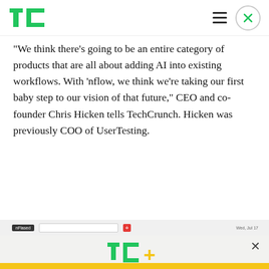TechCrunch
“We think there’s going to be an entire category of products that are all about adding AI into existing workflows. With ‘nflow, we think we’re taking our first baby step to our vision of that future,” CEO and co-founder Chris Hicken tells TechCrunch. Hicken was previously COO of UserTesting.
[Figure (screenshot): Partial screenshot of the nflow application interface showing a toolbar with tags and input fields]
[Figure (logo): TechCrunch+ (TC+) logo with green TC and yellow plus sign]
Celebrate Labor Day: Subscribe TechCrunch+ Today Only for $90/Year.
GET OFFER NOW